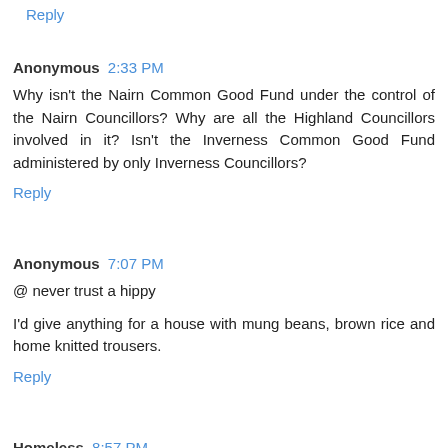Reply
Anonymous 2:33 PM
Why isn't the Nairn Common Good Fund under the control of the Nairn Councillors? Why are all the Highland Councillors involved in it? Isn't the Inverness Common Good Fund administered by only Inverness Councillors?
Reply
Anonymous 7:07 PM
@ never trust a hippy
I'd give anything for a house with mung beans, brown rice and home knitted trousers.
Reply
Homeless 8:57 PM
Quick question, the new flats on King Street are still not